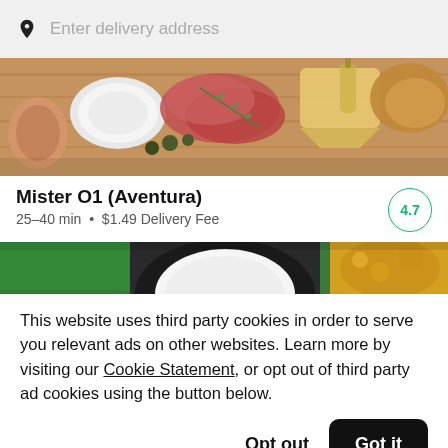Enter delivery address
[Figure (photo): Food photo showing charcuterie board with cured meats, bread, olives, and other antipasto items on wooden board]
Mister O1 (Aventura)
25–40 min  •  $1.49 Delivery Fee
4.7
[Figure (photo): Partially visible food photo showing restaurant food items]
This website uses third party cookies in order to serve you relevant ads on other websites. Learn more by visiting our Cookie Statement, or opt out of third party ad cookies using the button below.
Opt out
Got it